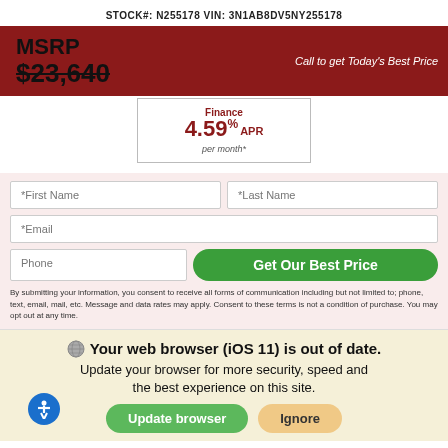STOCK#: N255178 VIN: 3N1AB8DV5NY255178
MSRP $23,640
Call to get Today's Best Price
Finance 4.59% APR per month*
*First Name
*Last Name
*Email
Phone
Get Our Best Price
By submitting your information, you consent to receive all forms of communication including but not limited to; phone, text, email, mail, etc. Message and data rates may apply. Consent to these terms is not a condition of purchase. You may opt out at any time.
Your web browser (iOS 11) is out of date. Update your browser for more security, speed and the best experience on this site.
Update browser
Ignore